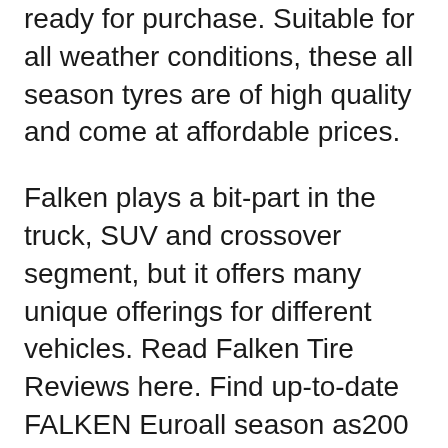ready for purchase. Suitable for all weather conditions, these all season tyres are of high quality and come at affordable prices.
Falken plays a bit-part in the truck, SUV and crossover segment, but it offers many unique offerings for different vehicles. Read Falken Tire Reviews here. Find up-to-date FALKEN Euroall season as200 tyre tests and information. Find here all usefull information about the FALKEN Euroall season as200 tyre: rankings, ...
Falken tire ratings and reviews to help you find the right tire! 100,000+ drivers and over 2.4 billion miles of data for